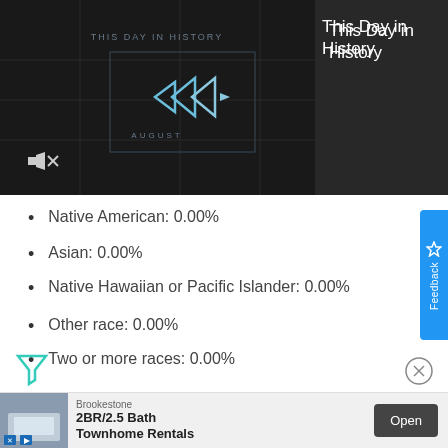[Figure (screenshot): Video thumbnail for 'This Day in History' showing play button and 'AUGUST' label on dark background]
This Day in History
Native American: 0.00%
Asian: 0.00%
Native Hawaiian or Pacific Islander: 0.00%
Other race: 0.00%
Two or more races: 0.00%
[Figure (screenshot): Advertisement banner: Brookestone 2BR/2.5 Bath Townhome Rentals with Open button]